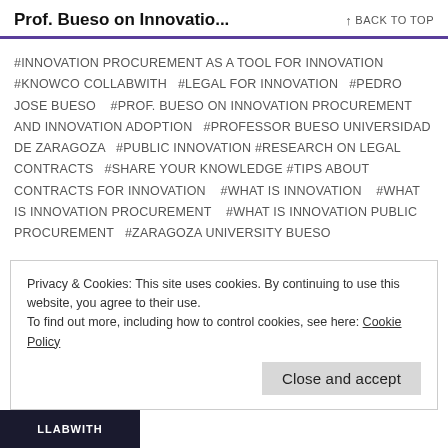Prof. Bueso on Innovatio...   ↑ BACK TO TOP
#INNOVATION PROCUREMENT AS A TOOL FOR INNOVATION #KNOWCO COLLABWITH #LEGAL FOR INNOVATION #PEDRO JOSE BUESO #PROF. BUESO ON INNOVATION PROCUREMENT AND INNOVATION ADOPTION #PROFESSOR BUESO UNIVERSIDAD DE ZARAGOZA #PUBLIC INNOVATION #RESEARCH ON LEGAL CONTRACTS #SHARE YOUR KNOWLEDGE #TIPS ABOUT CONTRACTS FOR INNOVATION #WHAT IS INNOVATION #WHAT IS INNOVATION PROCUREMENT #WHAT IS INNOVATION PUBLIC PROCUREMENT #ZARAGOZA UNIVERSITY BUESO
Privacy & Cookies: This site uses cookies. By continuing to use this website, you agree to their use. To find out more, including how to control cookies, see here: Cookie Policy
Close and accept